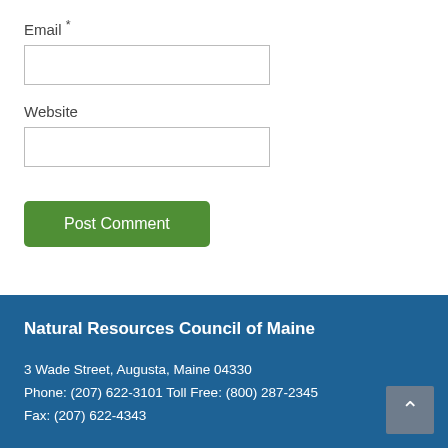Email *
Website
Post Comment
Natural Resources Council of Maine
3 Wade Street, Augusta, Maine 04330
Phone: (207) 622-3101 Toll Free: (800) 287-2345
Fax: (207) 622-4343